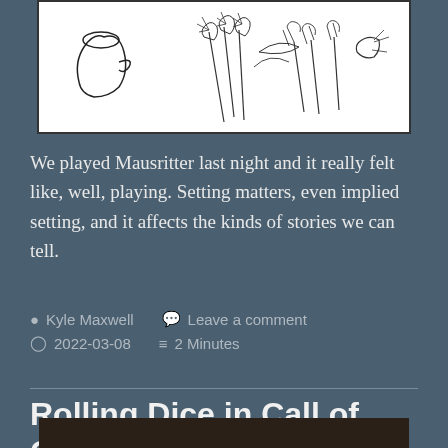[Figure (illustration): Black and white line drawing of a mouse or small creature with wheat/grain stalks and foliage]
We played Mausritter last night and it really felt like, well, playing. Setting matters, even implied setting, and it affects the kinds of stories we can tell.
Kyle Maxwell   Leave a comment   2022-03-08   2 Minutes
Rolling Dice in Call of Cthulhu
[Figure (photo): Dark photograph partially visible at bottom of page]